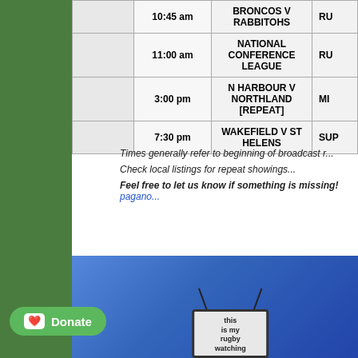|  | Time | Program | Channel |
| --- | --- | --- | --- |
|  | 10:45 am | BRONCOS V RABBITOHS | RU... |
|  | 11:00 am | NATIONAL CONFERENCE LEAGUE | RU... |
|  | 3:00 pm | N HARBOUR V NORTHLAND [REPEAT] | MI... |
|  | 7:30 pm | WAKEFIELD V ST HELENS | SUP... |
Times generally refer to beginning of broadcast r...
Check local listings for repeat showings...
Feel free to let us know if something is missing! pagano...
[Figure (photo): Blue rugby watching t-shirt with a retro TV graphic and text 'this is my rugby watching']